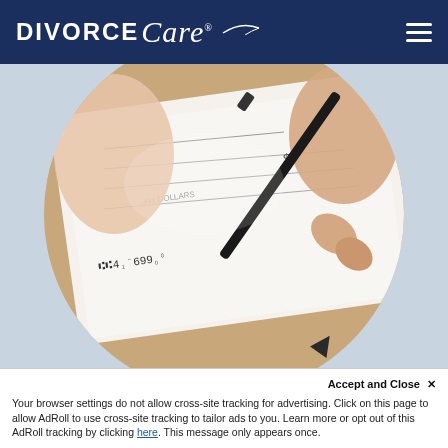DivorceCare
[Figure (photo): Close-up circular cropped photo of a person's hand holding a pen and writing on a check/cheque, placed on a wooden surface. The check shows dollar sign, lines for amount, and numeric routing numbers at the bottom.]
Find a sponsor
Your browser settings do not allow cross-site tracking for advertising. Click on this page to allow AdRoll to use cross-site tracking to tailor ads to you. Learn more or opt out of this AdRoll tracking by clicking here. This message only appears once.